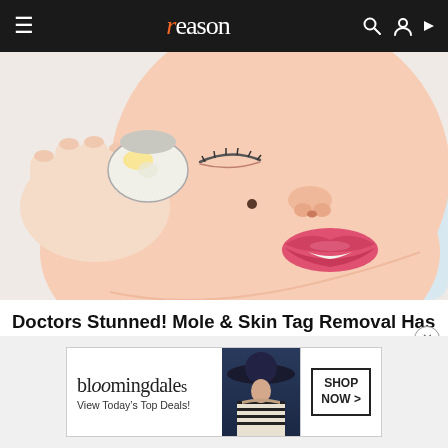reason
[Figure (illustration): Cartoon/comic-style illustration of a woman's face in close-up, with a hand holding a rounded tool near a mole on her cheek. The woman has pink lips, closed eyes, and is lying on a pillow.]
Doctors Stunned! Mole & Skin Tag Removal Has Never Been Easier (No Surgery)
[Figure (screenshot): Bloomingdale's advertisement banner: 'bloomingdales View Today's Top Deals!' with image of a woman in a hat and 'SHOP NOW >' button.]